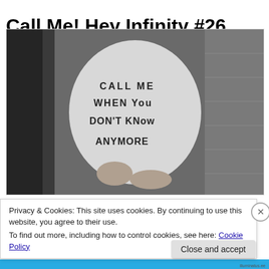Call Me! Hey Infinity #26
[Figure (photo): Black and white photograph of a person wearing a white t-shirt with handwritten text reading 'CALL ME WHEN YOU DON'T KNOW ANYMORE'. The person's hands are clasped at their waist. Background appears to be a wall.]
Privacy & Cookies: This site uses cookies. By continuing to use this website, you agree to their use.
To find out more, including how to control cookies, see here: Cookie Policy
Close and accept